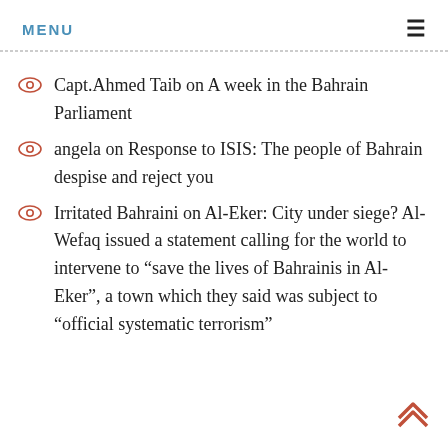MENU
Capt.Ahmed Taib on A week in the Bahrain Parliament
angela on Response to ISIS: The people of Bahrain despise and reject you
Irritated Bahraini on Al-Eker: City under siege? Al-Wefaq issued a statement calling for the world to intervene to “save the lives of Bahrainis in Al-Eker”, a town which they said was subject to “official systematic terrorism”